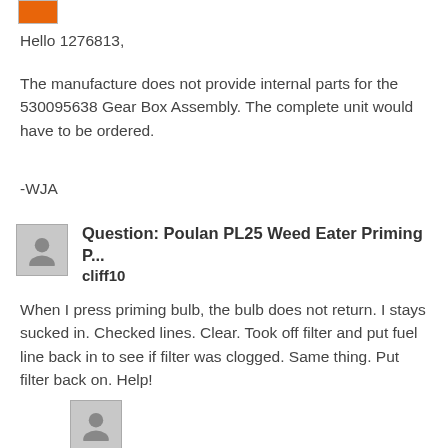[Figure (illustration): Orange avatar/icon in top left corner]
Hello 1276813,
The manufacture does not provide internal parts for the 530095638 Gear Box Assembly. The complete unit would have to be ordered.
-WJA
[Figure (illustration): Gray user silhouette avatar for cliff10]
Question: Poulan PL25 Weed Eater Priming P... cliff10
When I press priming bulb, the bulb does not return. I stays sucked in. Checked lines. Clear. Took off filter and put fuel line back in to see if filter was clogged. Same thing. Put filter back on. Help!
[Figure (illustration): Gray user silhouette avatar at bottom]